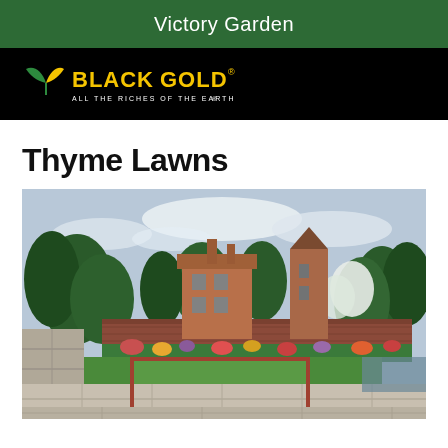Victory Garden
[Figure (logo): Black Gold logo — black background with yellow and green leaf emblem, text 'BLACK GOLD' in bold yellow and 'ALL THE RICHES OF THE EARTH' in small white text below]
Thyme Lawns
[Figure (photo): Photograph of an English garden with a rectangular lawn panel edged by stone paving, lush green trees and flowering borders in the background, and a red-brick manor house with a round tower visible behind the garden walls under a partly cloudy sky]